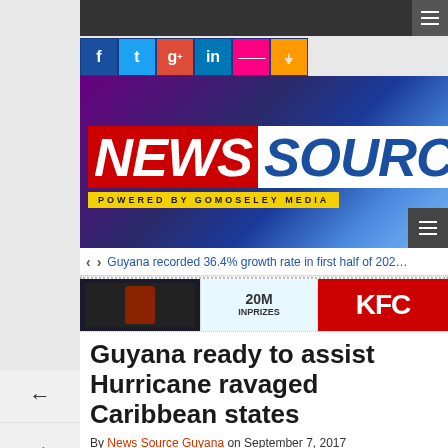News Source — navigation bar with hamburger menu
[Figure (logo): News Source logo — NEWS in red italic background, SOURCE in blue on white, tagline POWERED BY GOMOSELEY MEDIA on yellow bar, on purple-blue gradient background]
Guyana recorded 36.4% growth rate in first half of 2022
[Figure (infographic): Advertisement banner row: dark drinks ad, 20M in prizes ad, KFC ad]
Guyana ready to assist Hurricane ravaged Caribbean states
By News Source Guyana on September 7, 2017